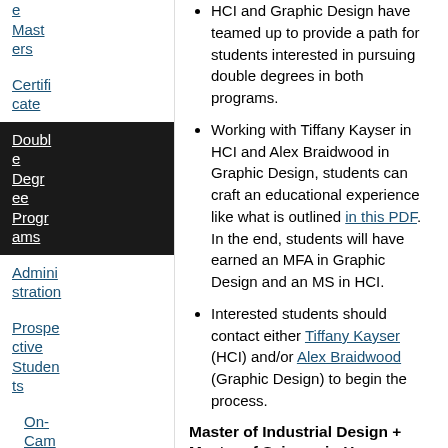Masters
Certificate
Double Degree Programs
Administration
Prospective Students
On-Cam
HCI and Graphic Design have teamed up to provide a path for students interested in pursuing double degrees in both programs.
Working with Tiffany Kayser in HCI and Alex Braidwood in Graphic Design, students can craft an educational experience like what is outlined in this PDF. In the end, students will have earned an MFA in Graphic Design and an MS in HCI.
Interested students should contact either Tiffany Kayser (HCI) and/or Alex Braidwood (Graphic Design) to begin the process.
Master of Industrial Design + Master of Science in Human Computer Interaction
HCI and Industrial Design have teamed up to provide a path (see this PDF) for